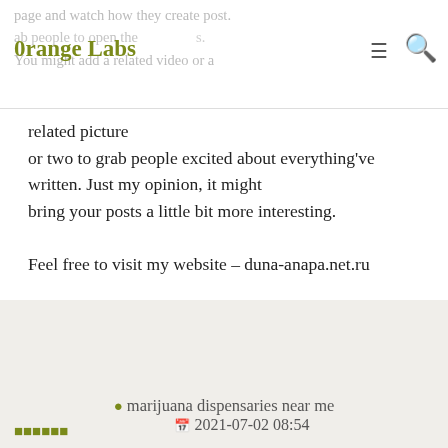0range Labs
page and watch how they create post.
ab people to open the s.
You might add a related video or a
related picture
or two to grab people excited about everything've written. Just my opinion, it might
bring your posts a little bit more interesting.

Feel free to visit my website – duna-anapa.net.ru
marijuana dispensaries near me
2021-07-02 08:54
🔲🔲🔲🔲🔲🔲